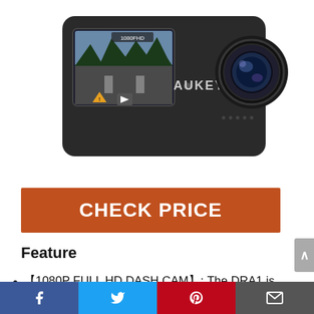[Figure (photo): AUKEY DRA1 dash camera product photo showing the camera body with lens and small display screen showing a snowy road scene with '1080FHD' label]
CHECK PRICE
Feature
【1080P FULL HD DASH CAM】: The DRA1 is equipped with GC2053 2-megapixel CMOS sensor, F1.8 large aperture, which can bring more soft color, high-definition and natural
Social share bar: Facebook, Twitter, Pinterest, Email